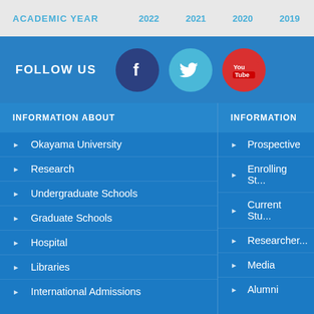ACADEMIC YEAR  2022  2021  2020  2019  2018
FOLLOW US
[Figure (other): Social media icons: Facebook (dark blue circle), Twitter (light blue circle), YouTube (red circle)]
INFORMATION ABOUT
Okayama University
Research
Undergraduate Schools
Graduate Schools
Hospital
Libraries
International Admissions
INFORMATION
Prospective
Enrolling St...
Current Stu...
Researcher...
Media
Alumni